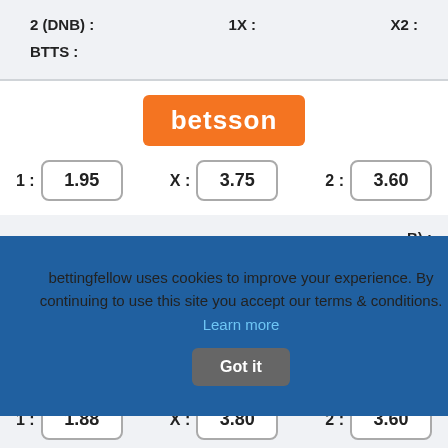2 (DNB) :    1X :    X2 :
BTTS :
[Figure (logo): Betsson orange logo with white text]
1 : 1.95    X : 3.75    2 : 3.60
B) :
bettingfellow uses cookies to improve your experience. By continuing to use this site you accept our terms & conditions. Learn more  Got it
1 : 1.88    X : 3.80    2 : 3.60